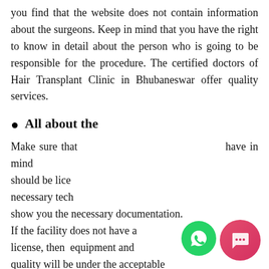you find that the website does not contain information about the surgeons. Keep in mind that you have the right to know in detail about the person who is going to be responsible for the procedure. The certified doctors of Hair Transplant Clinic in Bhubaneswar offer quality services.
All about the
Make sure that have in mind should be lice necessary tech show you the necessary documentation. If the facility does not have a license, then equipment and quality will be under the acceptable
[Figure (screenshot): A chat popup from Winika Clinics with logo, close button, and message: 'Thanks for choosing Winika Clinics. Please share your name and contact number for further communication']